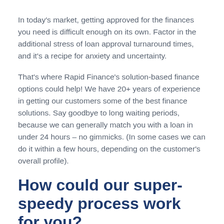In today's market, getting approved for the finances you need is difficult enough on its own. Factor in the additional stress of loan approval turnaround times, and it's a recipe for anxiety and uncertainty.
That's where Rapid Finance's solution-based finance options could help! We have 20+ years of experience in getting our customers some of the best finance solutions. Say goodbye to long waiting periods, because we can generally match you with a loan in under 24 hours – no gimmicks. (In some cases we can do it within a few hours, depending on the customer's overall profile).
How could our super-speedy process work for you?